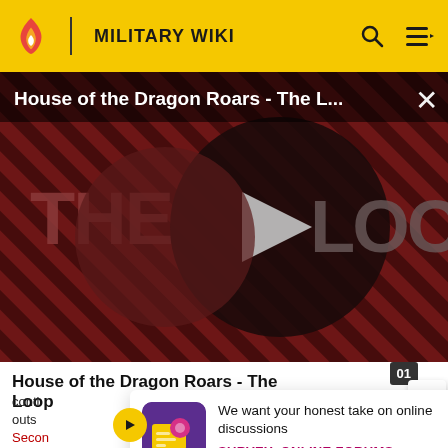MILITARY WIKI
[Figure (screenshot): Video thumbnail for 'House of the Dragon Roars - The Loop' showing diagonal red/dark striped background with large text 'THE LOOP' and a circular dark badge with a white play button triangle in the center]
House of the Dragon Roars - The Loop (video title overlay)
House of the Dragon Roars - The Loop
conti... outs... Second... move...
[Figure (infographic): Survey popup with purple icon showing 'We want your honest take on online discussions' and SURVEY: ONLINE FORUMS call to action]